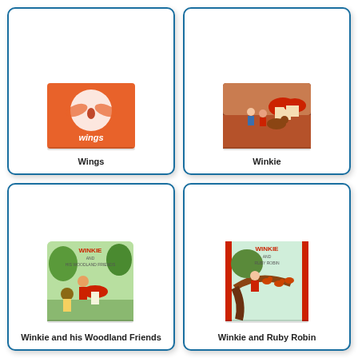[Figure (illustration): Book cover for 'Wings' - orange cover with white circular design and bird/wings motif in center]
Wings
[Figure (illustration): Book cover for 'Winkie' - colorful illustrated cover showing children and a dog near mushroom houses]
Winkie
[Figure (illustration): Book cover for 'Winkie and his Woodland Friends' - illustrated cover showing gnomes, animals and a child in a woodland scene]
Winkie and his Woodland Friends
[Figure (illustration): Book cover for 'Winkie and Ruby Robin' - illustrated cover showing a child sitting on a tree branch with birds]
Winkie and Ruby Robin